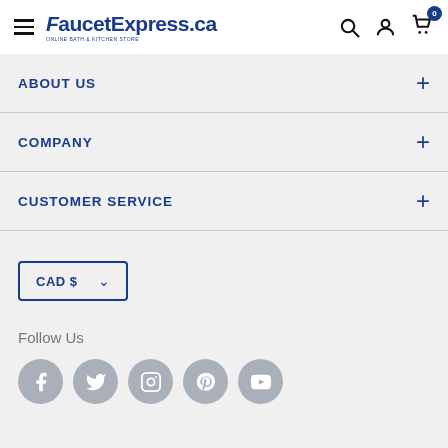FaucetExpress.ca - Online Bath & Kitchen Store
ABOUT US
COMPANY
CUSTOMER SERVICE
CAD $
Follow Us